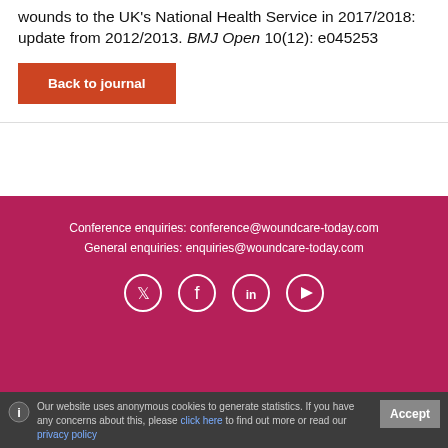wounds to the UK's National Health Service in 2017/2018: update from 2012/2013. BMJ Open 10(12): e045253
Back to journal
Conference enquiries: conference@woundcare-today.com
General enquiries: enquiries@woundcare-today.com
[Figure (illustration): Social media icons: Twitter, Facebook, LinkedIn, YouTube — white circles with white icons on pink background]
Our website uses anonymous cookies to generate statistics. If you have any concerns about this, please click here to find out more or read our privacy policy
Accept